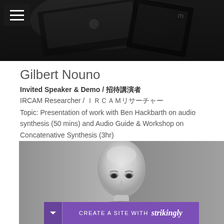[Figure (photo): Black and white photo of musical instruments or electronic equipment, top of page]
Gilbert Nouno
Invited Speaker & Demo / 招待講演者
IRCAM Researcher / ＩＲＣＡＭリサーチャー
Topic: Presentation of work with Ben Hackbarth on audio synthesis (50 mins) and Audio Guide & Workshop on Concatenative Synthesis (3hr)
[Figure (photo): Black and white portrait photo of a bald man (Gilbert Nouno) with a 'Create a site with Strikingly' banner overlay at the bottom]